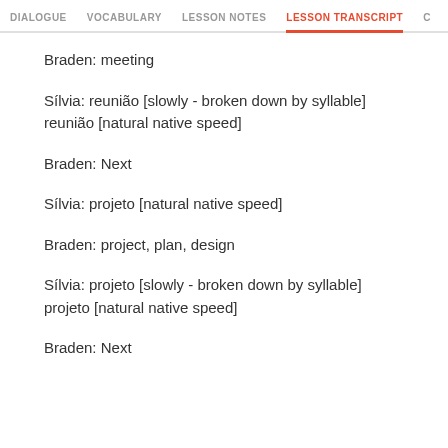DIALOGUE  VOCABULARY  LESSON NOTES  LESSON TRANSCRIPT  C
Braden: meeting
Sílvia: reunião [slowly - broken down by syllable] reunião [natural native speed]
Braden: Next
Sílvia: projeto [natural native speed]
Braden: project, plan, design
Sílvia: projeto [slowly - broken down by syllable] projeto [natural native speed]
Braden: Next